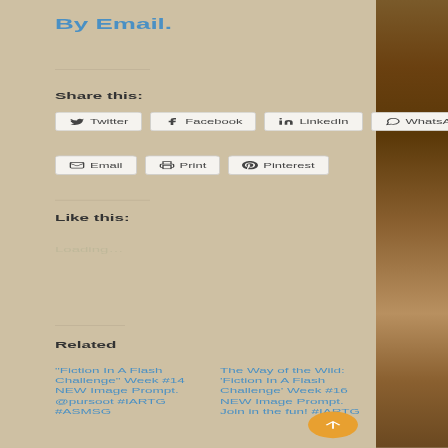By Email.
Share this:
Twitter  Facebook  LinkedIn  WhatsApp
Email  Print  Pinterest
Like this:
Loading…
Related
"Fiction In A Flash Challenge" Week #14 NEW Image Prompt. @pursoot #IARTG #ASMSG
The Way of the Wild: 'Fiction In A Flash Challenge' Week #16 NEW Image Prompt. Join in the fun! #IARTG